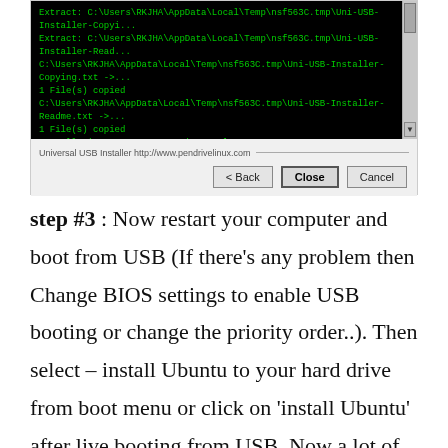[Figure (screenshot): A Windows installer dialog showing a black terminal window with green text indicating file extraction and copy operations, with a progress/completion message 'Installation Done, Process is Complete!' and buttons: Back, Close, Cancel at the bottom.]
step #3 : Now restart your computer and boot from USB (If there's any problem then Change BIOS settings to enable USB booting or change the priority order..). Then select – install Ubuntu to your hard drive from boot menu or click on 'install Ubuntu' after live booting from USB. Now a lot of screenshots(That I've taken during the